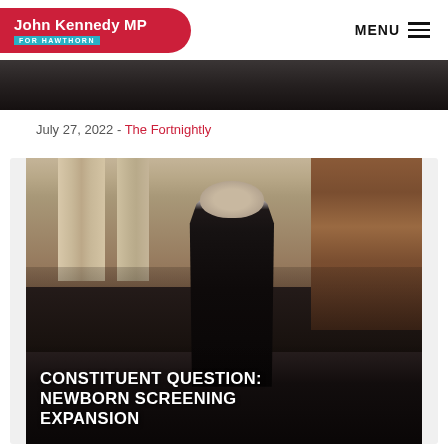John Kennedy MP FOR HAWTHORN
[Figure (photo): Photo strip at top of page showing partial image]
July 27, 2022 - The Fortnightly
[Figure (photo): Photo of John Kennedy MP speaking in parliament chamber with overlay text reading CONSTITUENT QUESTION: NEWBORN SCREENING EXPANSION]
CONSTITUENT QUESTION: NEWBORN SCREENING EXPANSION